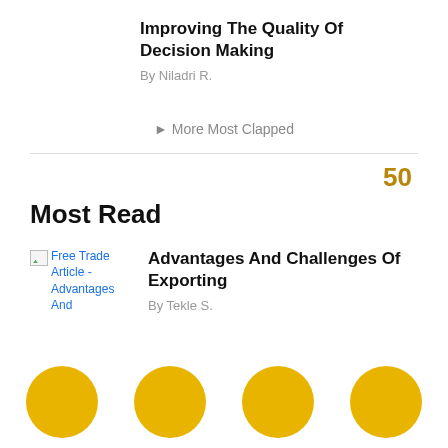Improving The Quality Of Decision Making
By Niladri R.
► More Most Clapped
50
Most Read
[Figure (other): Thumbnail image placeholder for Free Trade Article - Advantages And]
Advantages And Challenges Of Exporting
By Tekle S.